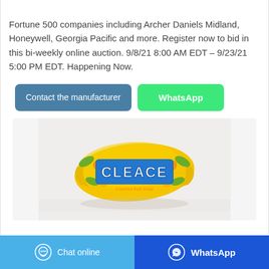Fortune 500 companies including Archer Daniels Midland, Honeywell, Georgia Pacific and more. Register now to bid in this bi-weekly online auction. 9/8/21 8:00 AM EDT – 9/23/21 5:00 PM EDT. Happening Now.
[Figure (other): Two buttons: 'Contact the manufacturer' (steel blue) and 'WhatsApp' (green)]
[Figure (photo): Product photo of CLEACE Colorful Fruit Soap bar in yellow packaging with blue text on a light background with reflection]
Chat online | WhatsApp